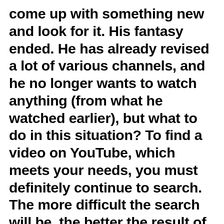come up with something new and look for it. His fantasy ended. He has already revised a lot of various channels, and he no longer wants to watch anything (from what he watched earlier), but what to do in this situation? To find a video on YouTube, which meets your needs, you must definitely continue to search. The more difficult the search will be, the better the result of your search. Remember that you just need to find only a few channels (interesting), and you can watch them for a whole week or even a month. Therefore, you can, in the absence of imagination and unwillingness of the search, ask